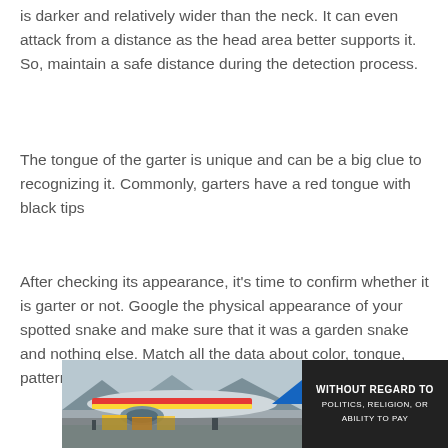is darker and relatively wider than the neck. It can even attack from a distance as the head area better supports it. So, maintain a safe distance during the detection process.
The tongue of the garter is unique and can be a big clue to recognizing it. Commonly, garters have a red tongue with black tips
After checking its appearance, it's time to confirm whether it is garter or not. Google the physical appearance of your spotted snake and make sure that it was a garden snake and nothing else. Match all the data about color, tongue, pattern, size, and habitat, and then
[Figure (photo): Advertisement banner showing an airplane being loaded with cargo, featuring a yellow and red livery. A dark panel on the right reads 'WITHOUT REGARD TO' in white text with additional smaller text below.]